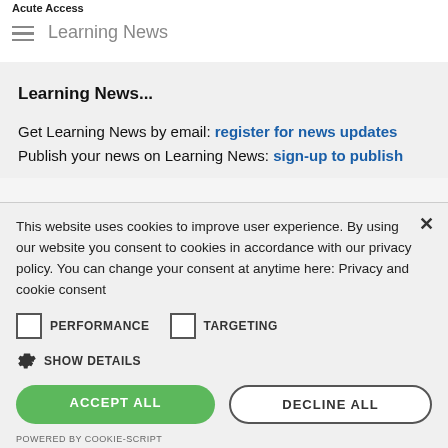Learning News
Learning News...
Get Learning News by email: register for news updates
Publish your news on Learning News: sign-up to publish
This website uses cookies to improve user experience. By using our website you consent to cookies in accordance with our privacy policy. You can change your consent at anytime here: Privacy and cookie consent
PERFORMANCE   TARGETING
SHOW DETAILS
ACCEPT ALL   DECLINE ALL
POWERED BY COOKIE-SCRIPT